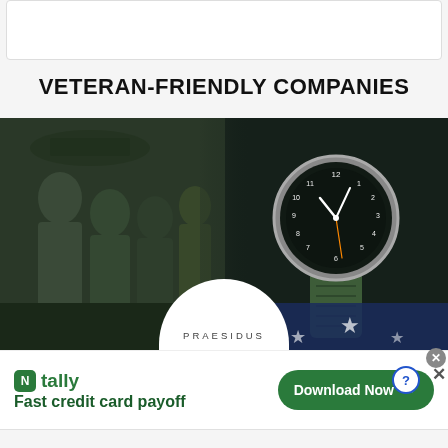VETERAN-FRIENDLY COMPANIES
[Figure (photo): Dark green-tinted composite image: left side shows WWII-era soldiers in military uniforms, right side shows a military-style wristwatch with green NATO strap resting on an American flag. A white semicircular badge at the bottom center reads 'PRAESIDUS' in spaced capitals.]
PRAESIDUS
[Figure (screenshot): Advertisement banner for Tally app: green square icon with 'N' letter, 'tally' in green text, tagline 'Fast credit card payoff' in bold dark green, and a green rounded-rectangle 'Download Now →' button on the right.]
Fast credit card payoff
Download Now →